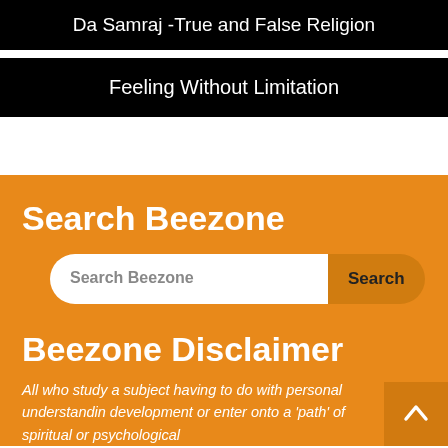Da Samraj -True and False Religion
Feeling Without Limitation
Search Beezone
[Figure (screenshot): Search input box with placeholder text 'Search Beezone' and a Search button]
Beezone Disclaimer
All who study a subject having to do with personal understandin development or enter onto a 'path' of spiritual or psychological